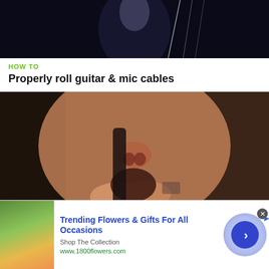[Figure (photo): Dark background photo related to guitar and mic cables]
HOW TO
Properly roll guitar & mic cables
[Figure (photo): Close-up photo of person whistling with fingers]
HOW TO
Whistle with your fingers
[Figure (infographic): Advertisement: Trending Flowers & Gifts For All Occasions - Shop The Collection - www.1800flowers.com]